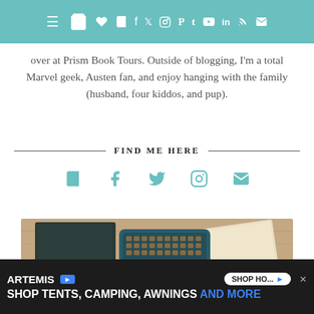Navigation bar with icons: hamburger, cart, heart, book, facebook, twitter, instagram, pinterest, tumblr, youtube, linkedin, rss, mail
you know what you're diving into. I enjoy helping publishers and authors promote their books here and over at Prism Book Tours. Outside of blogging, I'm a total Marvel geek, Austen fan, and enjoy hanging with the family (husband, four kiddos, and pup).
FIND ME HERE
[Figure (infographic): Five teal social media icons: book/goodreads, facebook, twitter, instagram, mail/envelope]
[Figure (photo): Photo of books and a vintage typewriter on a wooden surface, with cursive text 'The' visible at the bottom]
[Figure (infographic): Advertisement banner: ARTEMIS logo with blue badge, 'SHOP TENTS, CAMPING, AWNINGS AND MORE', SHOP NOW button, close X button]